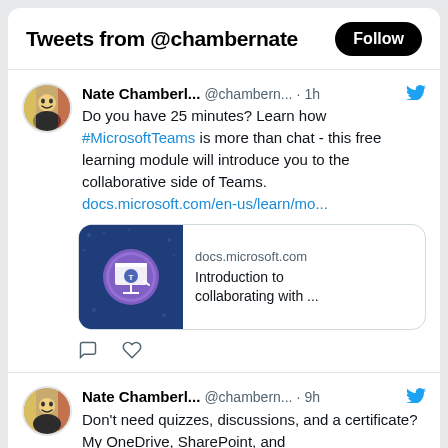Tweets from @chambernate
Nate Chamberl... @chambern... · 1h
Do you have 25 minutes? Learn how #MicrosoftTeams is more than chat - this free learning module will introduce you to the collaborative side of Teams.
docs.microsoft.com/en-us/learn/mo...
[Figure (screenshot): Link preview card: docs.microsoft.com thumbnail with Teams icon, Introduction to collaborating with ...]
Nate Chamberl... @chambern... · 9h
Don't need quizzes, discussions, and a certificate? My OneDrive, SharePoint, and